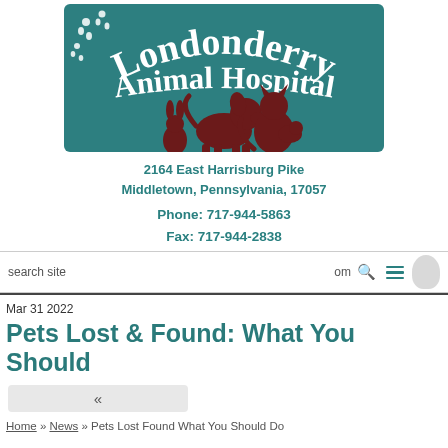[Figure (logo): Londonderry Animal Hospital logo with teal background, white serif text arching 'Londonderry' and 'Animal Hospital', silhouette animals (dog, cat, rabbit, small animal) in dark red/maroon, paw prints in top left]
2164 East Harrisburg Pike
Middletown, Pennsylvania, 17057
Phone: 717-944-5863
Fax: 717-944-2838
search site
om
Mar 31 2022
Pets Lost & Found: What You Should Do
«
Home » News » Pets Lost Found What You Should Do